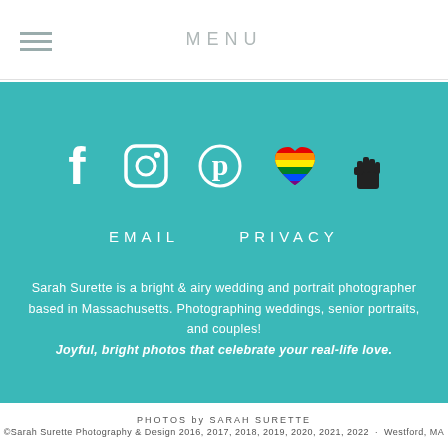MENU
[Figure (infographic): Social media icons on teal background: Facebook, Instagram, Pinterest, rainbow heart, raised fist]
EMAIL   PRIVACY
Sarah Surette is a bright & airy wedding and portrait photographer based in Massachusetts. Photographing weddings, senior portraits, and couples! Joyful, bright photos that celebrate your real-life love.
PHOTOS by SARAH SURETTE
©Sarah Surette Photography & Design 2016, 2017, 2018, 2019, 2020, 2021, 2022 · Westford, MA